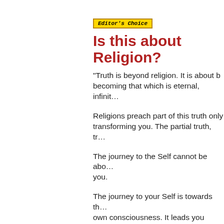[Figure (logo): Editor's Choice badge — yellow/gold background with dark border, italic bold text reading "Editor's Choice"]
Is this about Religion?
“Truth is beyond religion. It is about b… becoming that which is eternal, infinit…
Religions preach part of this truth only transforming you. The partial truth, tr…
The journey to the Self cannot be abo… you.
The journey to your Self is towards th… own consciousness. It leads you thro…
You see, learn and know your own Se… ritual, scriptures and preachers only b…
Why? Religion preaches alien means… Prophet or Messiah you never met, f… them in books not written by them. M… soul usually comes from the accident… where along with other identifications